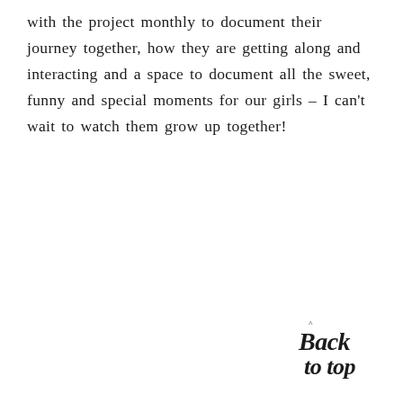with the project monthly to document their journey together, how they are getting along and interacting and a space to document all the sweet, funny and special moments for our girls – I can't wait to watch them grow up together!
[Figure (illustration): Handwritten cursive script reading 'Back to top' with a small caret/hat symbol above the 'B', styled as a decorative blog navigation element]